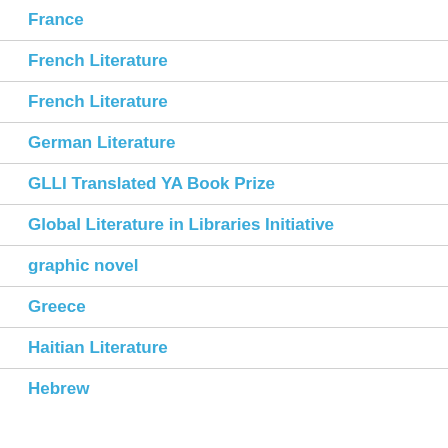France
French Literature
French Literature
German Literature
GLLI Translated YA Book Prize
Global Literature in Libraries Initiative
graphic novel
Greece
Haitian Literature
Hebrew